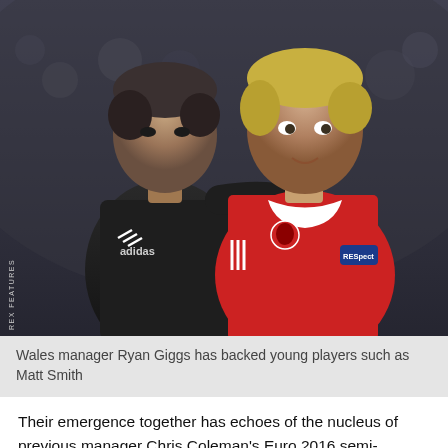[Figure (photo): Wales manager Ryan Giggs (in black Adidas jacket) with his arm around young Wales player Matt Smith (in red Wales kit with UEFA Respect armband), photographed during a football match.]
Wales manager Ryan Giggs has backed young players such as Matt Smith
Their emergence together has echoes of the nucleus of previous manager Chris Coleman's Euro 2016 semi-finalists, who were more than just team-mates in a WhatsApp group.
Chris Gunter, Neil Taylor, Aaron Ramsey and Gareth Bale were among those who came through at the same time, with a bond which helped that Wales squad earn